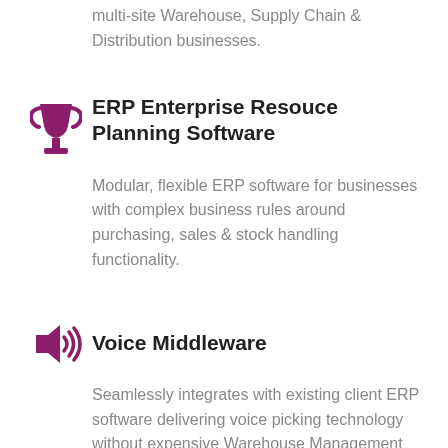multi-site Warehouse, Supply Chain & Distribution businesses.
[Figure (illustration): Purple trophy/cup icon]
ERP Enterprise Resouce Planning Software
Modular, flexible ERP software for businesses with complex business rules around purchasing, sales & stock handling functionality.
[Figure (illustration): Purple speaker/volume icon with sound waves]
Voice Middleware
Seamlessly integrates with existing client ERP software delivering voice picking technology without expensive Warehouse Management system costs.